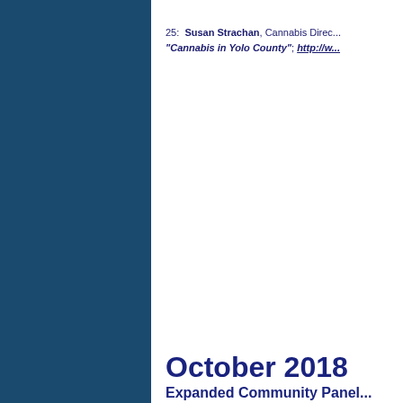25:  Susan Strachan, Cannabis Director, Yolo County, "Cannabis in Yolo County"; http://w...
October 2018
Expanded Community Panel...